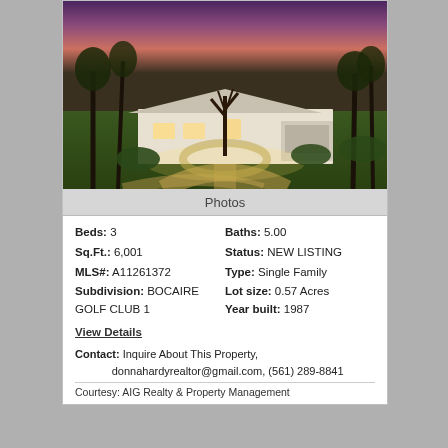[Figure (photo): Exterior photo of a single-family home at dusk/sunset with circular driveway, palm trees, and lush landscaping. White stucco house with attached garage, illuminated with exterior lights against a pink and purple sky.]
Photos
Beds: 3   Baths: 5.00
Sq.Ft.: 6,001   Status: NEW LISTING
MLS#: A11261372   Type: Single Family
Subdivision: BOCAIRE GOLF CLUB 1   Lot size: 0.57 Acres
Year built: 1987
View Details
Contact: Inquire About This Property, donnahardyrealtor@gmail.com, (561) 289-8841
Courtesy: AIG Realty & Property Management